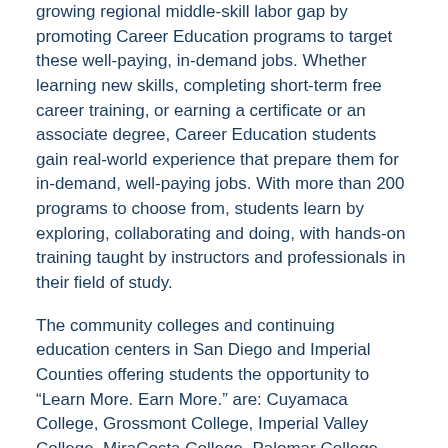growing regional middle-skill labor gap by promoting Career Education programs to target these well-paying, in-demand jobs. Whether learning new skills, completing short-term free career training, or earning a certificate or an associate degree, Career Education students gain real-world experience that prepare them for in-demand, well-paying jobs. With more than 200 programs to choose from, students learn by exploring, collaborating and doing, with hands-on training taught by instructors and professionals in their field of study.
The community colleges and continuing education centers in San Diego and Imperial Counties offering students the opportunity to “Learn More. Earn More.” are: Cuyamaca College, Grossmont College, Imperial Valley College, MiraCosta College, Palomar College, San Diego City College, San Diego Continuing Education, San Diego Mesa College, San Diego Miramar College, and Southwestern College. To learn more, visit CareerE...
Contact: